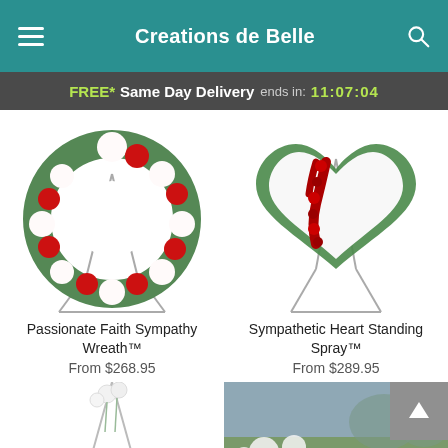Creations de Belle
FREE* Same Day Delivery ends in: 11:07:04
[Figure (photo): Passionate Faith Sympathy Wreath - a circular floral wreath with red roses and white flowers on a metal stand]
Passionate Faith Sympathy Wreath™
From $268.95
[Figure (photo): Sympathetic Heart Standing Spray - a heart-shaped arrangement of white carnations with red roses/berries, on a metal stand]
Sympathetic Heart Standing Spray™
From $289.95
[Figure (photo): Partial view of a floral arrangement with white flowers on a stand]
[Figure (photo): Partial view of a floral arrangement in a garden/outdoor setting]